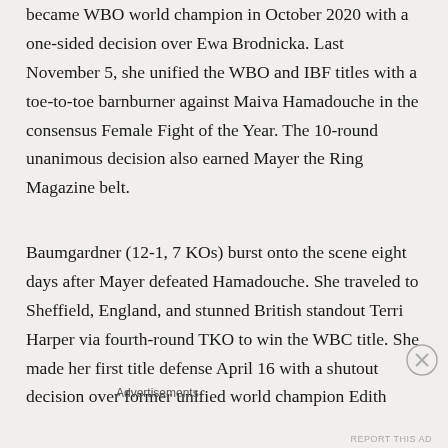became WBO world champion in October 2020 with a one-sided decision over Ewa Brodnicka. Last November 5, she unified the WBO and IBF titles with a toe-to-toe barnburner against Maiva Hamadouche in the consensus Female Fight of the Year. The 10-round unanimous decision also earned Mayer the Ring Magazine belt.
Baumgardner (12-1, 7 KOs) burst onto the scene eight days after Mayer defeated Hamadouche. She traveled to Sheffield, England, and stunned British standout Terri Harper via fourth-round TKO to win the WBC title. She made her first title defense April 16 with a shutout decision over former unified world champion Edith
Advertisements